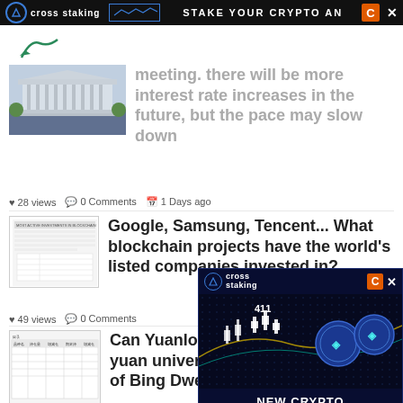[Figure (screenshot): Top banner advertisement for 'cross staking' with text 'STAKE YOUR CRYPTO AN' and orange C logo with X close button]
[Figure (logo): Partial logo with teal/green checkmark or wing shape]
[Figure (photo): Photo of Federal Reserve building exterior]
meeting. there will be more interest rate increases in the future, but the pace may slow down
28 views   0 Comments   1 Days ago
[Figure (screenshot): Thumbnail of a document about blockchain companies investment]
Google, Samsung, Tencent... What blockchain projects have the world's listed companies invested in?
49 views   0 Comments
[Figure (screenshot): Thumbnail of a financial table document]
Can Yuanlong Yat... points in the yuan universe with the rapid growth of Bing Dwen Dwen's performance?
[Figure (advertisement): Popup advertisement for 'cross staking' with 'NEW CRYPTO TECHNOLOGY: CROSS STAKING' text on dark blue background with crypto coin graphics]